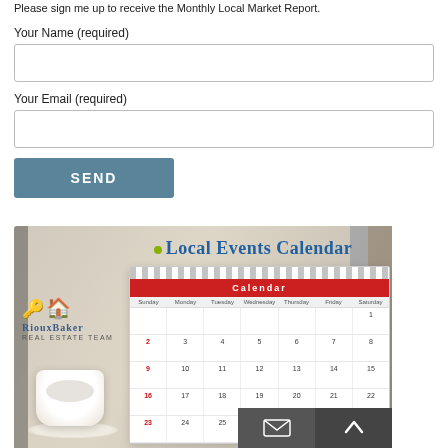Please sign me up to receive the Monthly Local Market Report.
Your Name (required)
Your Email (required)
SEND
[Figure (photo): Local Events Calendar promotional image from RiouxBaker Real Estate Team, showing a desk calendar with a coffee cup and blurred office background. The calendar header reads 'Calendar' in red with days of the month listed.]